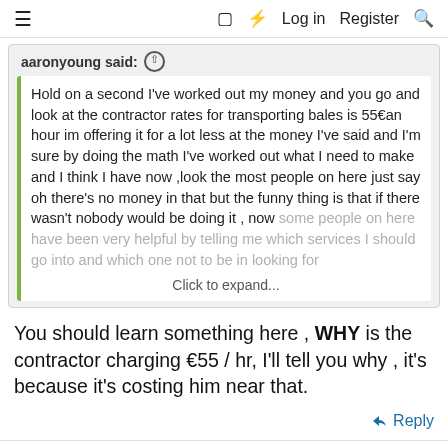≡   □  ⚡  Log in   Register  🔍
aaronyoung said:
Hold on a second I've worked out my money and you go and look at the contractor rates for transporting bales is 55€an hour im offering it for a lot less at the money I've said and I'm sure by doing the math I've worked out what I need to make and I think I have now ,look the most people on here just say oh there's no money in that but the funny thing is that if there wasn't nobody would be doing it , now some people on here have been very helpful by telling me which services I should go into and which one not to be in looking for...
Click to expand...
You should learn something here , WHY is the contractor charging €55 / hr, I'll tell you why , it's because it's costing him near that.
Reply
holywell farmer
Dead Rabbits